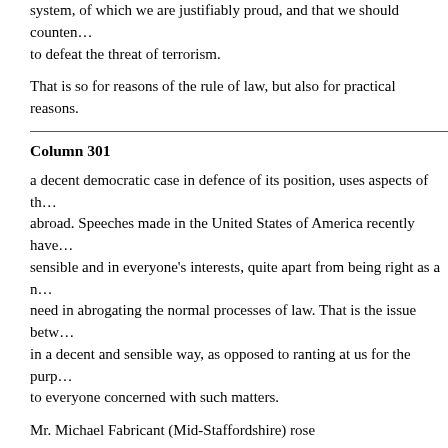system, of which we are justifiably proud, and that we should counter... to defeat the threat of terrorism.
That is so for reasons of the rule of law, but also for practical reasons.
Column 301
a decent democratic case in defence of its position, uses aspects of th... abroad. Speeches made in the United States of America recently have... sensible and in everyone's interests, quite apart from being right as a n... need in abrogating the normal processes of law. That is the issue betw... in a decent and sensible way, as opposed to ranting at us for the purp... to everyone concerned with such matters.
Mr. Michael Fabricant (Mid-Staffordshire) rose
Mr. Blair : I will give way in a moment.
This used to be recognised throughout the House. The great distinctio... speeches on the prevention of terrorism from the Government side, wh... very recently, they have always repeated the distaste felt by everyone... been some semblance of the thought that these are serious steps that...
That is why they are called "temporary provisions." It is why we debate... a considerable inroad into the civil liberties of which we are justly prou... because this was the only way of securing the renewal of the Act, Lor... among the other things that the Home Secretary did not quote from his...
"The longer the exclusion power continues, the stronger will be the cas... this issue."
So, far from it being strange for Opposition Members to raise them, ex...